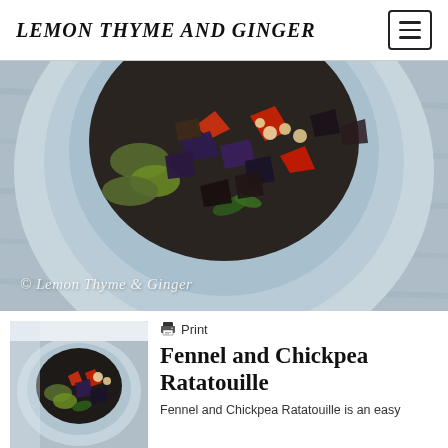LEMON THYME AND GINGER
[Figure (photo): Overhead view of a blue ceramic bowl filled with ratatouille vegetables including zucchini, red pepper, eggplant, and chickpeas, on a light blue cloth background. Watermark reads '© Lemon Thyme & Ginger']
[Figure (photo): Small thumbnail of a bowl of Fennel and Chickpea Ratatouille with colorful vegetables]
Print
Fennel and Chickpea Ratatouille
Fennel and Chickpea Ratatouille is an easy